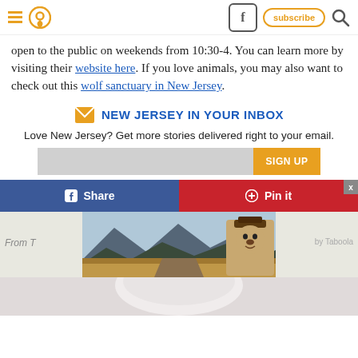Navigation header with hamburger menu, location pin icon, Facebook button, subscribe button, and search icon
open to the public on weekends from 10:30-4. You can learn more by visiting their website here. If you love animals, you may also want to check out this wolf sanctuary in New Jersey.
NEW JERSEY IN YOUR INBOX
Love New Jersey? Get more stories delivered right to your email.
SIGN UP
Share
Pin it
[Figure (screenshot): Taboola advertisement banner showing a landscape painting with mountains and Smokey Bear character, labeled 'From T...' and 'by Taboola']
[Figure (photo): Bottom portion of page showing partial image, appears to be a person with light colored hair]